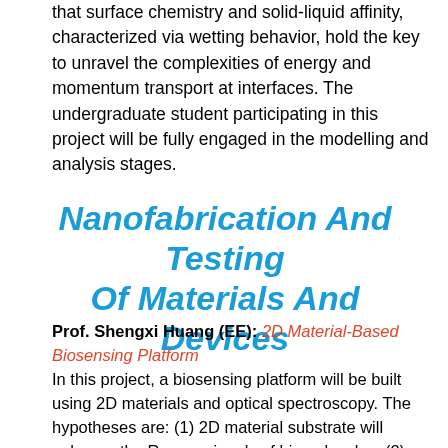that surface chemistry and solid-liquid affinity, characterized via wetting behavior, hold the key to unravel the complexities of energy and momentum transport at interfaces. The undergraduate student participating in this project will be fully engaged in the modelling and analysis stages.
Nanofabrication And Testing Of Materials And Devices
Prof. Shengxi Huang (EE): 2D Material-Based Biosensing Platform
In this project, a biosensing platform will be built using 2D materials and optical spectroscopy. The hypotheses are: (1) 2D material substrate will enhance the Raman signals of biomolecules; (2) there is a selection rule between the biomolecule and 2D material to achieve the strongest enhancement. In this project, biomolecules will be deposited on the 2D